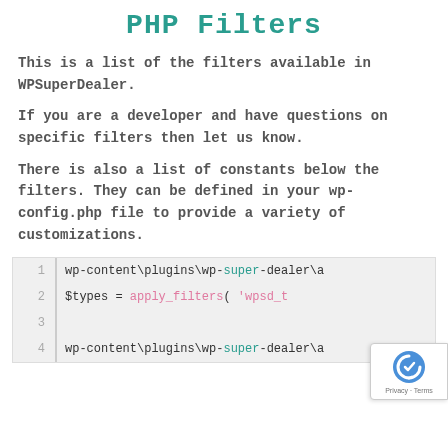PHP Filters
This is a list of the filters available in WPSuperDealer.
If you are a developer and have questions on specific filters then let us know.
There is also a list of constants below the filters. They can be defined in your wp-config.php file to provide a variety of customizations.
[Figure (screenshot): Code block showing PHP code with line numbers. Line 1: wp-content\plugins\wp-super-dealer\a... Line 2: $types = apply_filters( 'wpsd_t... Line 3: (empty) Line 4: wp-content\plugins\wp-super-dealer\a...]